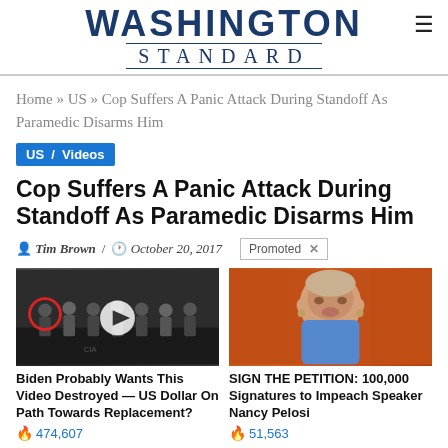WASHINGTON STANDARD
Home » US » Cop Suffers A Panic Attack During Standoff As Paramedic Disarms Him
US / Videos
Cop Suffers A Panic Attack During Standoff As Paramedic Disarms Him
Tim Brown / October 20, 2017  Promoted X
[Figure (photo): Video thumbnail showing group of men in suits with red circle highlight and play button overlay]
[Figure (photo): Portrait photo of Nancy Pelosi in blue jacket against orange background]
Biden Probably Wants This Video Destroyed — US Dollar On Path Towards Replacement?
474,607
SIGN THE PETITION: 100,000 Signatures to Impeach Speaker Nancy Pelosi
51,563